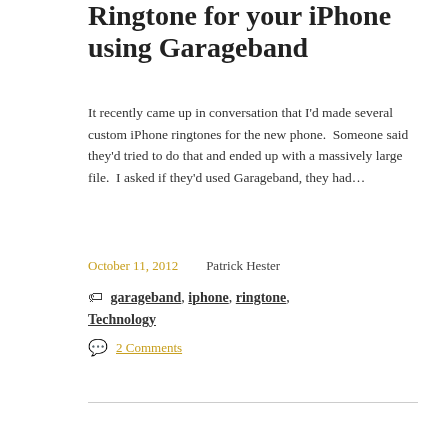Ringtone for your iPhone using Garageband
It recently came up in conversation that I'd made several custom iPhone ringtones for the new phone. Someone said they'd tried to do that and ended up with a massively large file. I asked if they'd used Garageband, they had...
October 11, 2012   Patrick Hester
garageband, iphone, ringtone, Technology
2 Comments